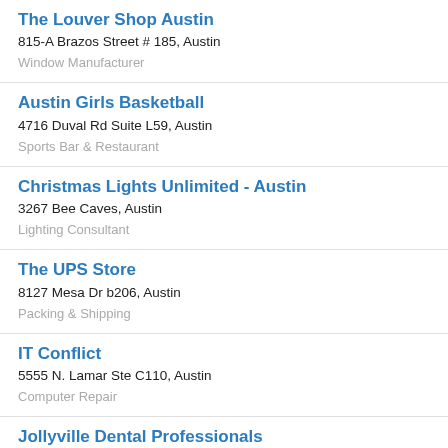The Louver Shop Austin
815-A Brazos Street # 185, Austin
Window Manufacturer
Austin Girls Basketball
4716 Duval Rd Suite L59, Austin
Sports Bar & Restaurant
Christmas Lights Unlimited - Austin
3267 Bee Caves, Austin
Lighting Consultant
The UPS Store
8127 Mesa Dr b206, Austin
Packing & Shipping
IT Conflict
5555 N. Lamar Ste C110, Austin
Computer Repair
Jollyville Dental Professionals
11672 Jollyville Rd, Austin